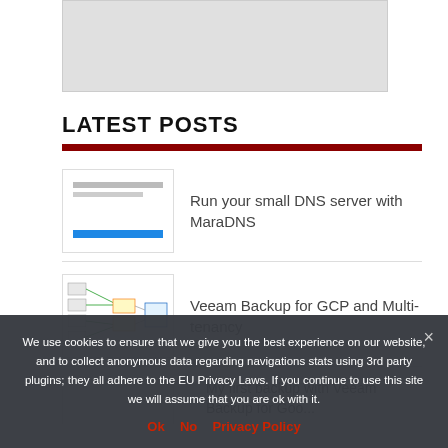[Figure (other): Gray placeholder image at top of page]
LATEST POSTS
[Figure (screenshot): Thumbnail for MaraDNS DNS server post]
Run your small DNS server with MaraDNS
[Figure (screenshot): Thumbnail for Veeam Backup for GCP and Multi-tenancy post showing network diagram]
Veeam Backup for GCP and Multi-tenancy
[Figure (screenshot): Thumbnail for third post (partially visible)]
My first backup with Veeam Backup for Goo...
We use cookies to ensure that we give you the best experience on our website, and to collect anonymous data regarding navigations stats using 3rd party plugins; they all adhere to the EU Privacy Laws. If you continue to use this site we will assume that you are ok with it.
Ok   No   Privacy Policy